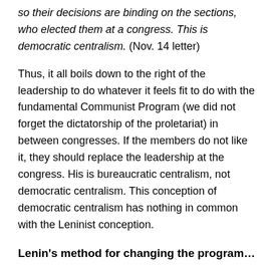so their decisions are binding on the sections, who elected them at a congress. This is democratic centralism. (Nov. 14 letter)
Thus, it all boils down to the right of the leadership to do whatever it feels fit to do with the fundamental Communist Program (we did not forget the dictatorship of the proletariat) in between congresses. If the members do not like it, they should replace the leadership at the congress. His is bureaucratic centralism, not democratic centralism. This conception of democratic centralism has nothing in common with the Leninist conception.
Lenin's method for changing the program…
Comrade Frankel, however, decided to drag Lenin and the1917 revolution into the dispute. We don't really know why. We have to apologize to the reader once again, with